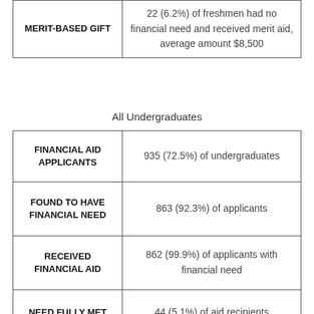| Category | Value |
| --- | --- |
| MERIT-BASED GIFT | 22 (6.2%) of freshmen had no financial need and received merit aid, average amount $8,500 |
All Undergraduates
| Category | Value |
| --- | --- |
| FINANCIAL AID APPLICANTS | 935 (72.5%) of undergraduates |
| FOUND TO HAVE FINANCIAL NEED | 863 (92.3%) of applicants |
| RECEIVED FINANCIAL AID | 862 (99.9%) of applicants with financial need |
| NEED FULLY MET | 44 (5.1%) of aid recipients |